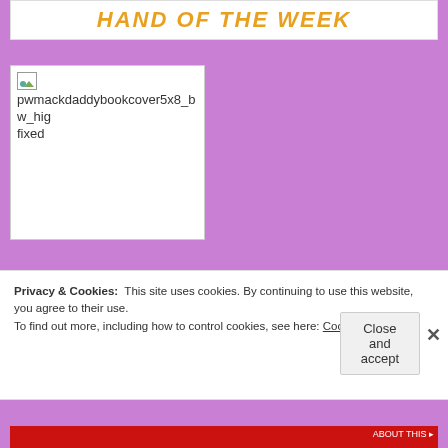HAND OF THE WEEK
[Figure (photo): Broken image placeholder with filename: pwmackdaddybookcover5x8_bw_hig fixed]
Privacy & Cookies: This site uses cookies. By continuing to use this website, you agree to their use.
To find out more, including how to control cookies, see here: Cookie Policy
Close and accept